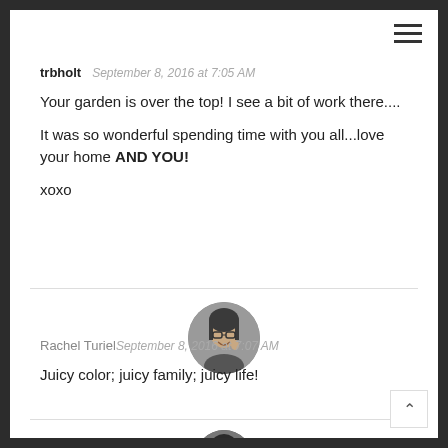trbholt  September 8, 2016 at 7:05 AM
Your garden is over the top! I see a bit of work there....
It was so wonderful spending time with you all...love your home AND YOU!
xoxo
[Figure (photo): Circular avatar photo of Rachel Turiel, a woman with glasses smiling]
Rachel Turiel  September 8, 2016 at 7:07 AM
Juicy color; juicy family; juicy life!
[Figure (photo): Circular avatar photo partially visible at bottom]